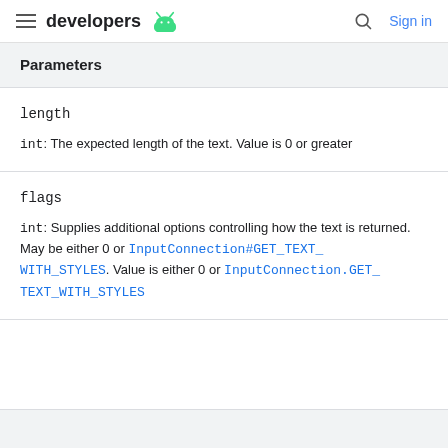developers Sign in
Parameters
length
int: The expected length of the text. Value is 0 or greater
flags
int: Supplies additional options controlling how the text is returned. May be either 0 or InputConnection#GET_TEXT_WITH_STYLES. Value is either 0 or InputConnection.GET_TEXT_WITH_STYLES